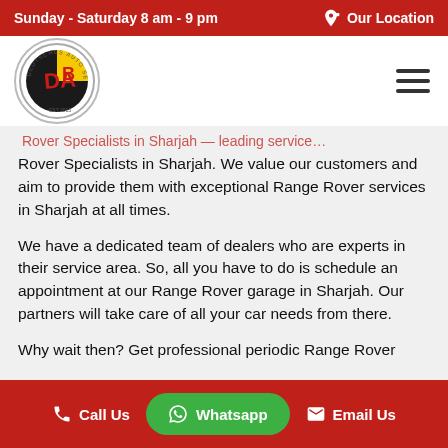Sunday - Saturday 8 am - 9 pm | Our Location
[Figure (logo): Deutsches Auto Service Center circular logo with DAB letters in red, black, and yellow colors]
Rover Specialists in Sharjah. We value our customers and aim to provide them with exceptional Range Rover services in Sharjah at all times.
We have a dedicated team of dealers who are experts in their service area. So, all you have to do is schedule an appointment at our Range Rover garage in Sharjah. Our partners will take care of all your car needs from there.
Why wait then? Get professional periodic Range Rover
Call Us | Whatsapp | Email Us